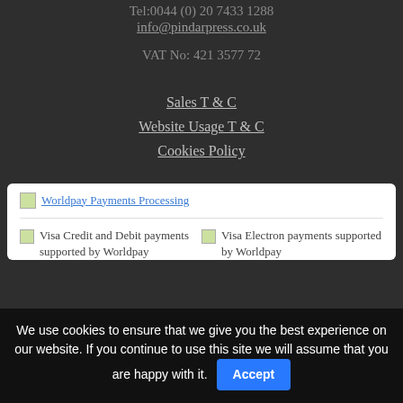Tel:0044 (0) 20 7433 1288
info@pindarpress.co.uk
VAT No: 421 3577 72
Sales T & C
Website Usage T & C
Cookies Policy
[Figure (other): Worldpay Payments Processing logo/badge in a white rounded box]
[Figure (other): Visa Credit and Debit payments supported by Worldpay logo]
[Figure (other): Visa Electron payments supported by Worldpay logo]
We use cookies to ensure that we give you the best experience on our website. If you continue to use this site we will assume that you are happy with it.